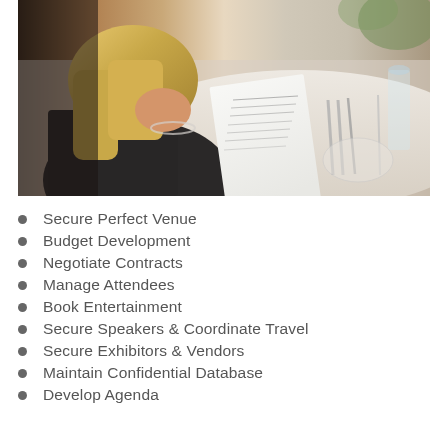[Figure (photo): A woman with blonde hair reading a menu/program at a formal dinner table setting with white tablecloth, silverware, glasses, and place settings visible in the background.]
Secure Perfect Venue
Budget Development
Negotiate Contracts
Manage Attendees
Book Entertainment
Secure Speakers & Coordinate Travel
Secure Exhibitors & Vendors
Maintain Confidential Database
Develop Agenda